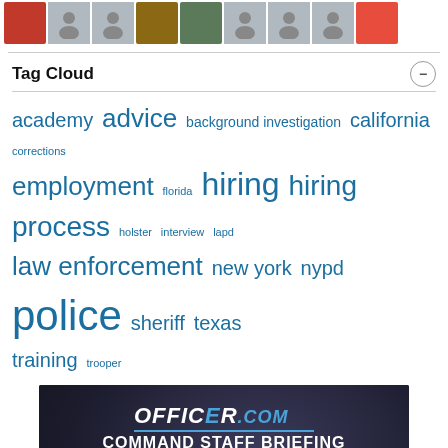[Figure (photo): Row of avatar thumbnails at the top of the page: red car, generic person icons, cat/animal, person with green background, more generic person icons, and a red icon at the far right.]
Tag Cloud
academy advice background investigation california corrections employment florida hiring hiring process holster interview lapd law enforcement new york nypd police sheriff texas training trooper
[Figure (advertisement): Officer.com Command Staff Briefing advertisement. Dark textured background. Logo: OFFICER.com in bold italic white with blue underline. Headline: COMMAND STAFF BRIEFING. Body: The monthly eNewsletter delivering the latest in law enforcement operations. Button: SUBSCRIBE TODAY!]